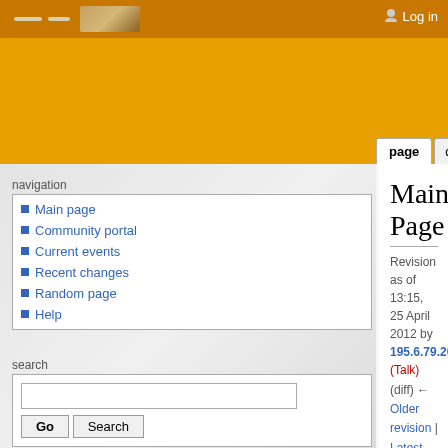Log in
page | discussion | view source | history
Main Page
Revision as of 13:15, 25 April 2012 by 195.6.79.204 (Talk)
(diff) ← Older revision | Latest revision (diff) | Newer revision → (diff)
navigation
Main page
Community portal
Current events
Recent changes
Random page
Help
search
toolbox
What links here
Related changes
Special pages
| Resources |
| --- |
| Application Programming Interface (API) |
| API News (2012-01-16) |
| API Reference |
| API Wanted Features |
| CCP Community Toolkit |